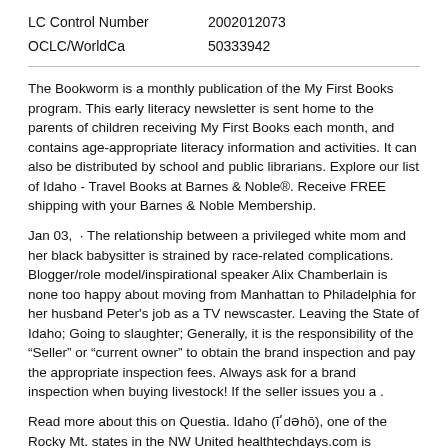| LC Control Number | 2002012073 |
| OCLC/WorldCa | 50333942 |
The Bookworm is a monthly publication of the My First Books program. This early literacy newsletter is sent home to the parents of children receiving My First Books each month, and contains age-appropriate literacy information and activities. It can also be distributed by school and public librarians. Explore our list of Idaho - Travel Books at Barnes & Noble®. Receive FREE shipping with your Barnes & Noble Membership.
Jan 03,  · The relationship between a privileged white mom and her black babysitter is strained by race-related complications. Blogger/role model/inspirational speaker Alix Chamberlain is none too happy about moving from Manhattan to Philadelphia for her husband Peter's job as a TV newscaster. Leaving the State of Idaho; Going to slaughter; Generally, it is the responsibility of the "Seller" or "current owner" to obtain the brand inspection and pay the appropriate inspection fees. Always ask for a brand inspection when buying livestock! If the seller issues you a .
Read more about this on Questia. Idaho (ī′dəhō), one of the Rocky Mt. states in the NW United healthtechdays.com is bordered by Montana and Wyoming (E), Utah and Nevada (S), Oregon and Washington (W), and the Canadian province of British Columbia (N). About Idaho. LOS ANGELES TIMES BESTSELLER • A stunning debut novel about love and forgiveness, about the violence of memory